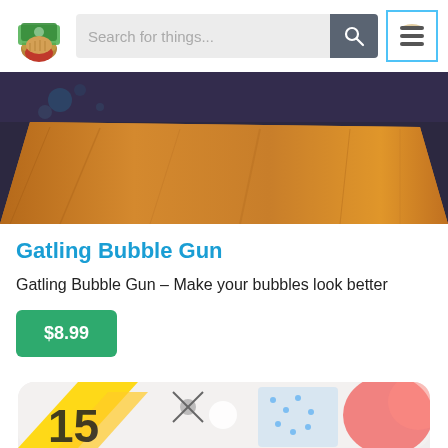[Figure (screenshot): Website header with logo (cartoon hand holding money), search bar with placeholder 'Search for things...', search button with magnifying glass icon, and hamburger menu button with light blue border]
[Figure (photo): Product image showing a wooden table surface against a dark background]
Gatling Bubble Gun
Gatling Bubble Gun – Make your bubbles look better
$8.99
[Figure (illustration): Partially visible colorful card at bottom showing cartoon characters and text starting with '15']